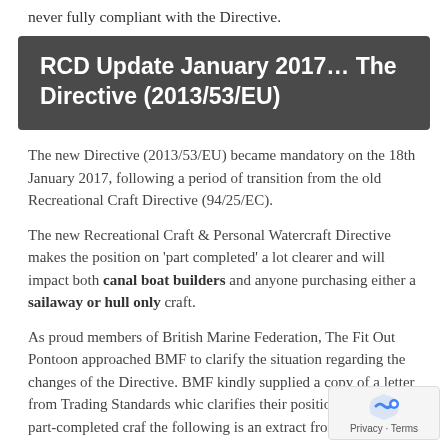never fully compliant with the Directive.
RCD Update January 2017… The Directive (2013/53/EU)
The new Directive (2013/53/EU) became mandatory on the 18th January 2017, following a period of transition from the old Recreational Craft Directive (94/25/EC).
The new Recreational Craft & Personal Watercraft Directive makes the position on 'part completed' a lot clearer and will impact both canal boat builders and anyone purchasing either a sailaway or hull only craft.
As proud members of British Marine Federation, The Fit Out Pontoon approached BMF to clarify the situation regarding the changes of the Directive. BMF kindly supplied a copy of a letter from Trading Standards which clarifies their position in regard to part-completed craft, the following is an extract from that letter: